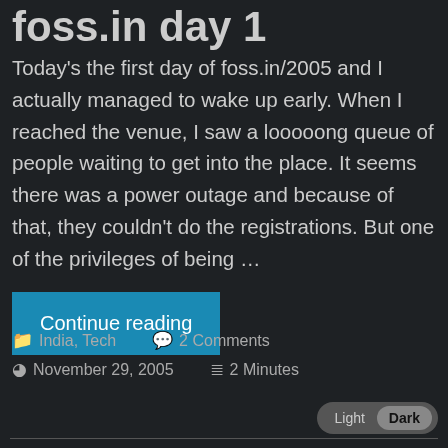foss.in day 1
Today's the first day of foss.in/2005 and I actually managed to wake up early. When I reached the venue, I saw a looooong queue of people waiting to get into the place. It seems there was a power outage and because of that, they couldn't do the registrations. But one of the privileges of being …
Continue reading
India, Tech  2 Comments  November 29, 2005  2 Minutes